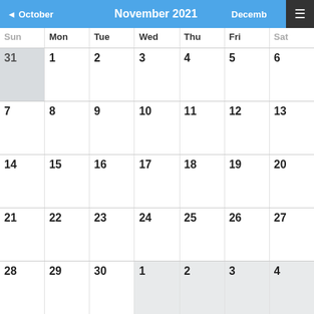November 2021
| Sun | Mon | Tue | Wed | Thu | Fri | Sat |
| --- | --- | --- | --- | --- | --- | --- |
| 31 | 1 | 2 | 3 | 4 | 5 | 6 |
| 7 | 8 | 9 | 10 | 11 | 12 | 13 |
| 14 | 15 | 16 | 17 | 18 | 19 | 20 |
| 21 | 22 | 23 | 24 | 25 | 26 | 27 |
| 28 | 29 | 30 | 1 | 2 | 3 | 4 |